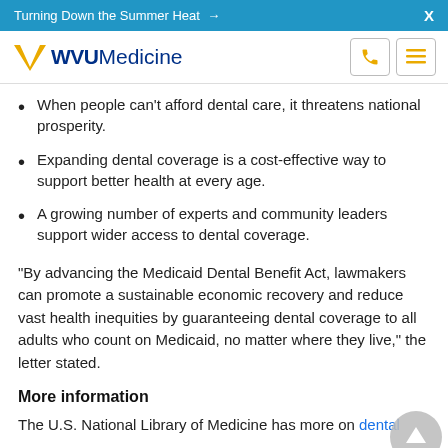Turning Down the Summer Heat →   X
WVU Medicine
When people can't afford dental care, it threatens national prosperity.
Expanding dental coverage is a cost-effective way to support better health at every age.
A growing number of experts and community leaders support wider access to dental coverage.
"By advancing the Medicaid Dental Benefit Act, lawmakers can promote a sustainable economic recovery and reduce vast health inequities by guaranteeing dental coverage to all adults who count on Medicaid, no matter where they live," the letter stated.
More information
The U.S. National Library of Medicine has more on dental